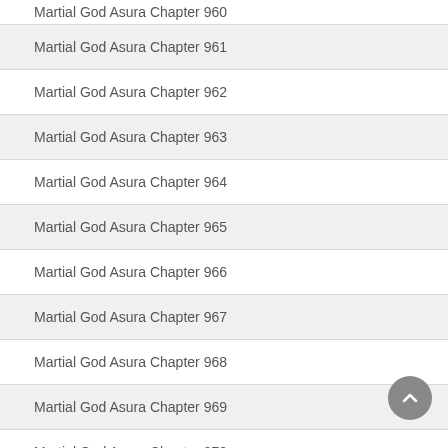Martial God Asura Chapter 960
Martial God Asura Chapter 961
Martial God Asura Chapter 962
Martial God Asura Chapter 963
Martial God Asura Chapter 964
Martial God Asura Chapter 965
Martial God Asura Chapter 966
Martial God Asura Chapter 967
Martial God Asura Chapter 968
Martial God Asura Chapter 969
Martial God Asura Chapter 970
Martial God Asura Chapter 971